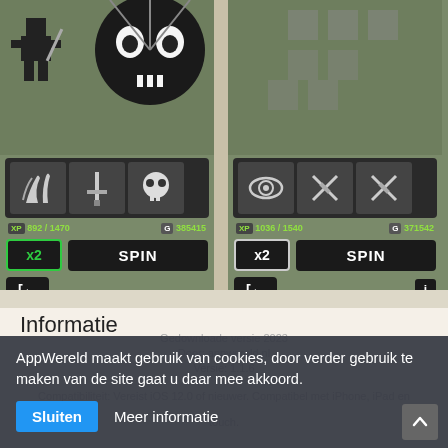[Figure (screenshot): Mobile game screenshot showing two spin panels side by side, each with pixel art characters, skill icons (claw, sword, skull on left; eye, crossed swords on right), XP/Gold stats, x2 multiplier button, SPIN button, and back button. Right edge shows a REFRESH / COST 340 panel partially visible.]
Informatie
AppWereld maakt gebruik van cookies, door verder gebruik te maken van de site gaat u daar mee akkoord.
Sluiten
Meer informatie
Versie:    1.1.6
Compatibiliteit:   Vereist iOS 12.0 of nieuwer. Compatibel met iPhone, iPad en iPod touch.